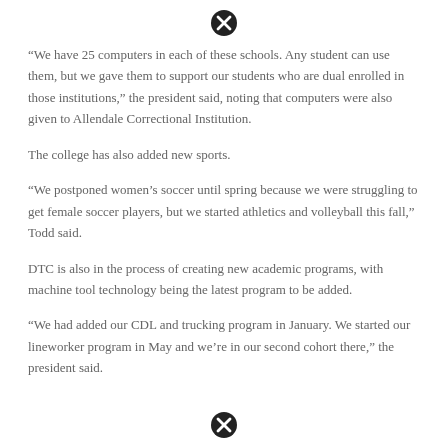[Figure (other): Close/cancel icon circle at top center]
“We have 25 computers in each of these schools. Any student can use them, but we gave them to support our students who are dual enrolled in those institutions,” the president said, noting that computers were also given to Allendale Correctional Institution.
The college has also added new sports.
“We postponed women’s soccer until spring because we were struggling to get female soccer players, but we started athletics and volleyball this fall,” Todd said.
DTC is also in the process of creating new academic programs, with machine tool technology being the latest program to be added.
“We had added our CDL and trucking program in January. We started our lineworker program in May and we’re in our second cohort there,” the president said.
[Figure (other): Close/cancel icon circle at bottom center]